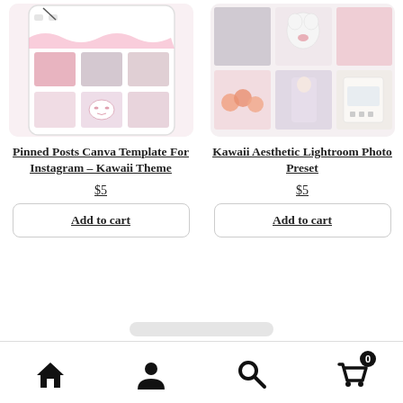[Figure (photo): Product thumbnail for Pinned Posts Canva Template For Instagram – Kawaii Theme. Shows a phone mockup with pink kawaii-themed Instagram grid layout with photos of a girl, cat, and cute items.]
Pinned Posts Canva Template For Instagram – Kawaii Theme
$5
Add to cart
[Figure (photo): Product thumbnail for Kawaii Aesthetic Lightroom Photo Preset. Shows a collage of pastel pink aesthetic photos including a puppy, cupcakes, a girl, and a calculator.]
Kawaii Aesthetic Lightroom Photo Preset
$5
Add to cart
Home | Account | Search | Cart (0)